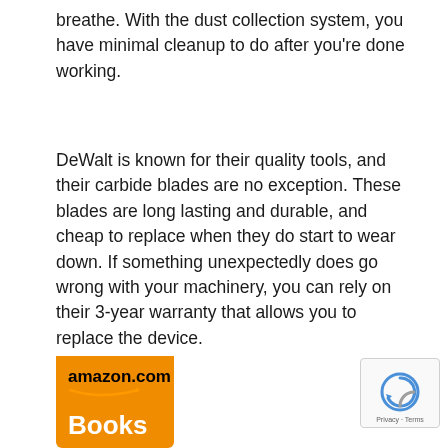breathe. With the dust collection system, you have minimal cleanup to do after you're done working.
DeWalt is known for their quality tools, and their carbide blades are no exception. These blades are long lasting and durable, and cheap to replace when they do start to wear down. If something unexpectedly does go wrong with your machinery, you can rely on their 3-year warranty that allows you to replace the device.
[Figure (logo): Amazon.com Books logo — orange rounded rectangle background with 'amazon.com' in black text and orange arrow, 'Books' in white bold text below]
[Figure (logo): Google reCAPTCHA badge with blue/grey circular arrow icon and 'Privacy · Terms' text]